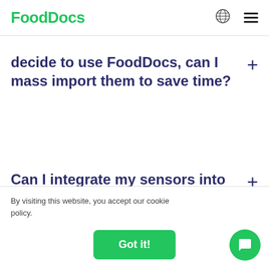FoodDocs
decide to use FoodDocs, can I mass import them to save time?
Can I integrate my sensors into the software?
By visiting this website, you accept our cookie policy.